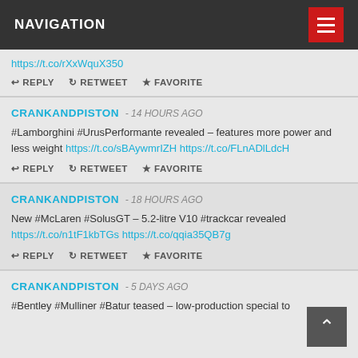NAVIGATION
https://t.co/rXxWquX350
REPLY  RETWEET  FAVORITE
CRANKANDPISTON - 14 HOURS AGO
#Lamborghini #UrusPerformante revealed – features more power and less weight https://t.co/sBAywmrIZH https://t.co/FLnADlLdcH
REPLY  RETWEET  FAVORITE
CRANKANDPISTON - 18 HOURS AGO
New #McLaren #SolusGT – 5.2-litre V10 #trackcar revealed https://t.co/n1tF1kbTGs https://t.co/qqia35QB7g
REPLY  RETWEET  FAVORITE
CRANKANDPISTON - 5 DAYS AGO
#Bentley #Mulliner #Batur teased – low-production special to